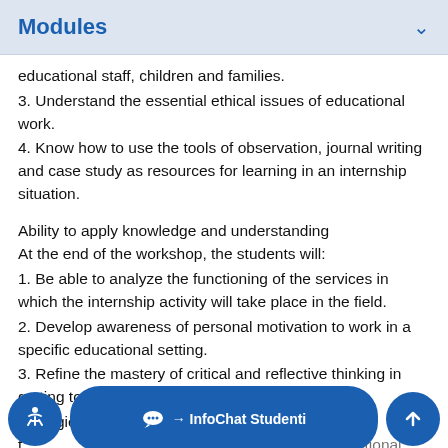Modules
educational staff, children and families.
3. Understand the essential ethical issues of educational work.
4. Know how to use the tools of observation, journal writing and case study as resources for learning in an internship situation.
Ability to apply knowledge and understanding
At the end of the workshop, the students will:
1. Be able to analyze the functioning of the services in which the internship activity will take place in the field.
2. Develop awareness of personal motivation to work in a specific educational setting.
3. Refine the mastery of critical and reflective thinking in getting to know different educational contexts and
methodologies.3. Refine the mastery of critical and reflective thinking in getting to know different educational contexts and